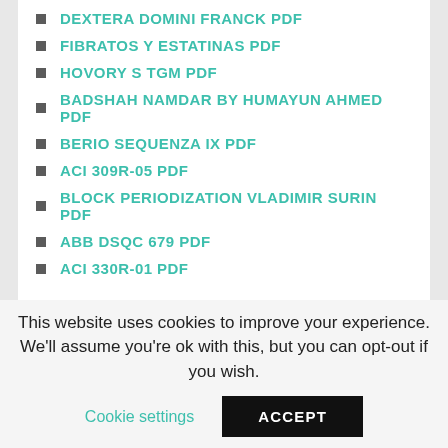DEXTERA DOMINI FRANCK PDF
FIBRATOS Y ESTATINAS PDF
HOVORY S TGM PDF
BADSHAH NAMDAR BY HUMAYUN AHMED PDF
BERIO SEQUENZA IX PDF
ACI 309R-05 PDF
BLOCK PERIODIZATION VLADIMIR SURIN PDF
ABB DSQC 679 PDF
ACI 330R-01 PDF
This website uses cookies to improve your experience. We'll assume you're ok with this, but you can opt-out if you wish.
Cookie settings
ACCEPT